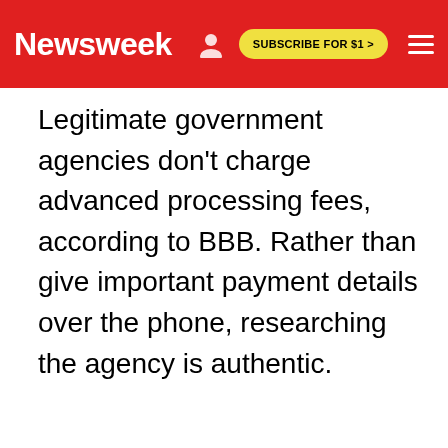Newsweek | SUBSCRIBE FOR $1 >
Legitimate government agencies don't charge advanced processing fees, according to BBB. Rather than give important payment details over the phone, researching the agency is authentic.